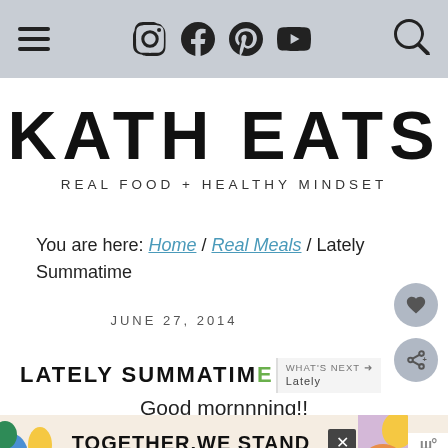Navigation bar with hamburger menu, social icons (Instagram, Facebook, Pinterest, YouTube), and search icon
KATH EATS
REAL FOOD + HEALTHY MINDSET
You are here: Home / Real Meals / Lately Summatime
JUNE 27, 2014
LATELY SUMMATIME
Good mornnning!!
[Figure (other): Advertisement banner: colorful art on left, TOGETHER WE STAND text in center, close button, and logo on right]